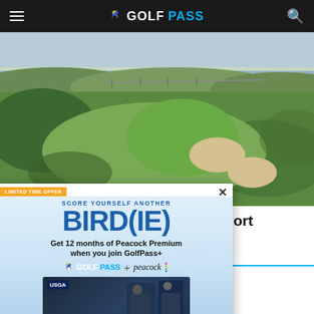GOLFPASS
[Figure (photo): Aerial view of a links golf course with green fairways, rough grass, and sand bunkers]
[Figure (screenshot): GolfPass promotional advertisement overlay: LIMITED TIME OFFER - SCORE YOURSELF ANOTHER BIRD(IE) - Get 12 months of Peacock Premium when you join GolfPass+ - GOLFPASS + peacock logos - TV screen showing USGA content - JOIN NOW button - $4.99/mo. va. up. Eligibility restrictions and terms apply.]
newest golf resort
and clubhouse that has hosted men's